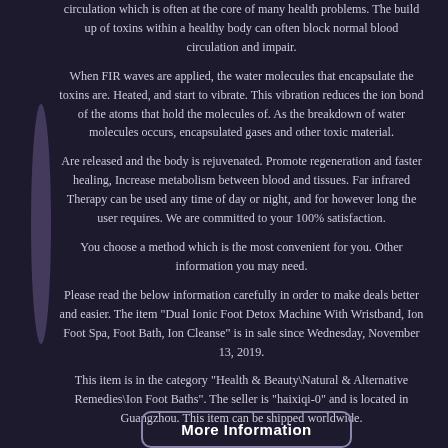circulation which is often at the core of many health problems. The build up of toxins within a healthy body can often block normal blood circulation and impair.
When FIR waves are applied, the water molecules that encapsulate the toxins are. Heated, and start to vibrate. This vibration reduces the ion bond of the atoms that hold the molecules of. As the breakdown of water molecules occurs, encapsulated gases and other toxic material.
Are released and the body is rejuvenated. Promote regeneration and faster healing, Increase metabolism between blood and tissues. Far infrared Therapy can be used any time of day or night, and for however long the user requires. We are committed to your 100% satisfaction.
You choose a method which is the most convenient for you. Other information you may need.
Please read the below information carefully in order to make deals better and easier. The item "Dual Ionic Foot Detox Machine With Wristband, Ion Foot Spa, Foot Bath, Ion Cleanse" is in sale since Wednesday, November 13, 2019.
This item is in the category "Health & Beauty\Natural & Alternative Remedies\Ion Foot Baths". The seller is "haixiqi-0" and is located in Guangzhou. This item can be shipped worldwide.
More Information